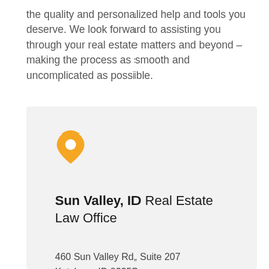the quality and personalized help and tools you deserve. We look forward to assisting you through your real estate matters and beyond – making the process as smooth and uncomplicated as possible.
[Figure (illustration): Orange map pin / location marker icon]
Sun Valley, ID Real Estate Law Office
460 Sun Valley Rd, Suite 207
Ketchum, ID 83353